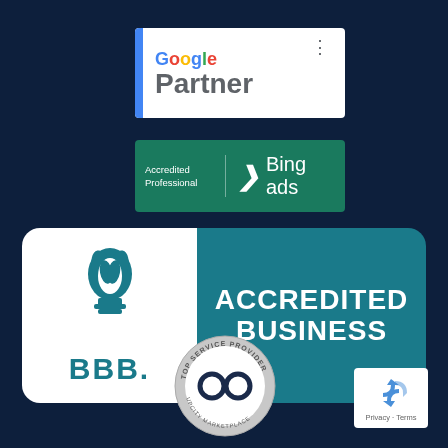[Figure (logo): Google Partner badge - white rounded rectangle with blue vertical bar on left, 'Google' in multicolor and 'Partner' in gray, three dots menu icon]
[Figure (logo): Bing Ads Accredited Professional badge - teal/green rounded rectangle with white text 'Accredited Professional' on left, Bing 'b' logo and 'Bing ads' on right]
[Figure (logo): BBB Accredited Business badge - large rounded rectangle, left side white with BBB torch logo and 'BBB.' text, right side teal with 'ACCREDITED BUSINESS' in white bold text]
[Figure (logo): UpCity Top Service Provider badge - circular silver/gray badge with 'TOP SERVICE PROVIDER' text around edge and UpCity logo in center, 'UPCITY MARKETPLACE' at bottom]
[Figure (logo): Google reCAPTCHA badge - small white rounded rectangle with reCAPTCHA logo (recycling arrows icon in blue) and 'Privacy - Terms' text below]